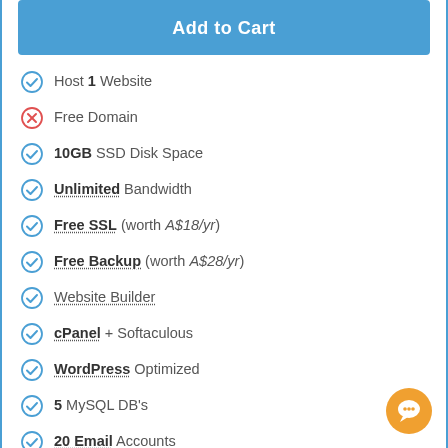Add to Cart
Host 1 Website
Free Domain
10GB SSD Disk Space
Unlimited Bandwidth
Free SSL (worth A$18/yr)
Free Backup (worth A$28/yr)
Website Builder
cPanel + Softaculous
WordPress Optimized
5 MySQL DB's
20 Email Accounts
View Full Features ∨